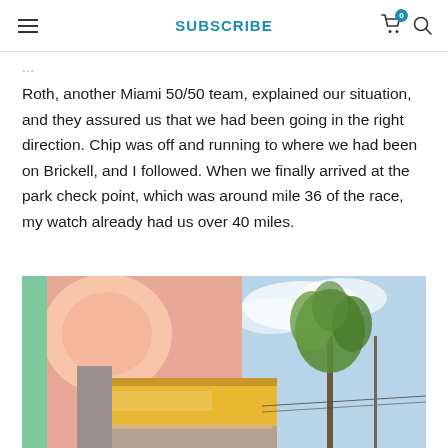SUBSCRIBE
Roth, another Miami 50/50 team, explained our situation, and they assured us that we had been going in the right direction. Chip was off and running to where we had been on Brickell, and I followed. When we finally arrived at the park check point, which was around mile 36 of the race, my watch already had us over 40 miles.
[Figure (photo): Street-level photo looking up at a colorful building facade with a painted mural, a yellow awning with text, and a palm tree against a partly cloudy sky in Miami.]